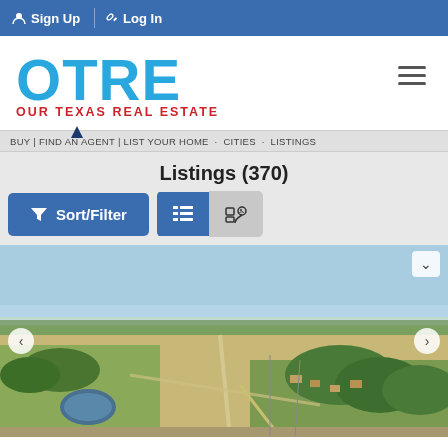Sign Up | Log In
[Figure (logo): OTRE Our Texas Real Estate logo with blue letters and red tagline]
Navigation strip with menu items
Listings (370)
Sort/Filter button and view toggle buttons (list and map view)
[Figure (photo): Aerial photograph of Texas rural real estate land with open fields, trees, a pond, and residential lots along roads]